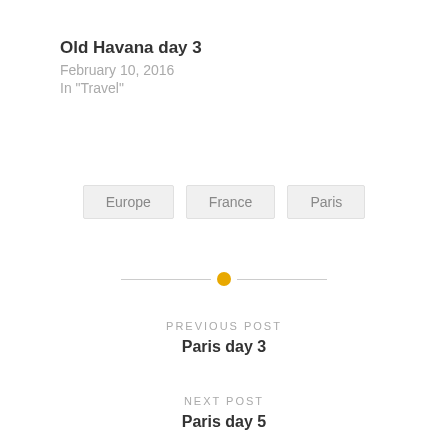Old Havana day 3
February 10, 2016
In "Travel"
Europe
France
Paris
PREVIOUS POST
Paris day 3
NEXT POST
Paris day 5